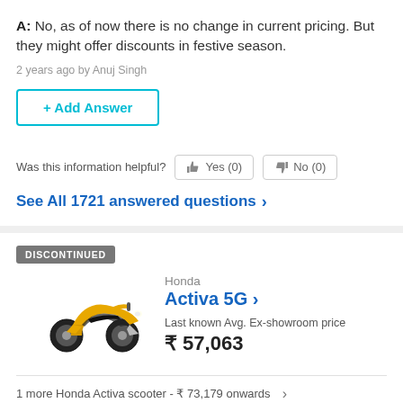A: No, as of now there is no change in current pricing. But they might offer discounts in festive season.
2 years ago by Anuj Singh
+ Add Answer
Was this information helpful?  Yes (0)  No (0)
See All 1721 answered questions >
DISCONTINUED
[Figure (photo): Yellow Honda Activa 5G scooter side view]
Honda
Activa 5G >
Last known Avg. Ex-showroom price
₹ 57,063
1 more Honda Activa scooter - ₹ 73,179 onwards >